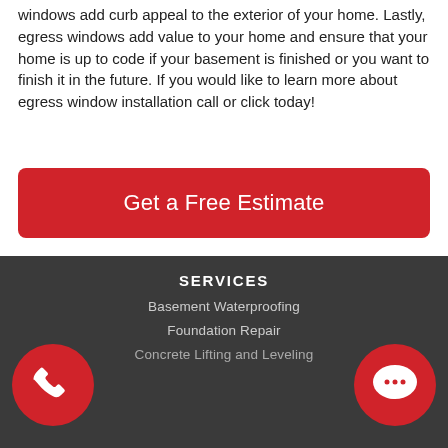windows add curb appeal to the exterior of your home. Lastly, egress windows add value to your home and ensure that your home is up to code if your basement is finished or you want to finish it in the future. If you would like to learn more about egress window installation call or click today!
Get a Free Estimate
SERVICES
Basement Waterproofing
Foundation Repair
Concrete Lifting and Leveling